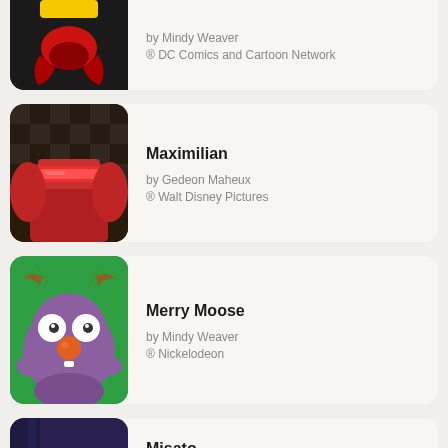[Figure (illustration): Partial anime/cartoon character with yellow top, red symbol on black background - cropped top card]
by Mindy Weaver
® DC Comics and Cartoon Network
[Figure (illustration): Anime/cartoon robot or mech with red visor on dark checkered background - Maximilian]
Maximilian
by Gedeon Maheux
® Walt Disney Pictures
[Figure (illustration): Cartoon purple moose character with big white eyes and orange nose on green background - Merry Moose]
Merry Moose
by Mindy Weaver
® Nickelodeon
[Figure (illustration): Anime female character with dark hair, partial face visible - Misato]
Misato
by Mindy Weaver
® GAINAX